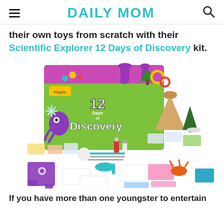DAILY MOM
their own toys from scratch with their Scientific Explorer 12 Days of Discovery kit.
[Figure (photo): Scientific Explorer 12 Days of Discovery kit box shown with all kit contents spread out in front — includes a green advent-style box with colorful artwork, various powder packets, small figurines (volcano, tree, purple monster puzzle, orange claw figure, blue tray), droppers, tubes, a balloon, and other science experiment supplies.]
If you have more than one youngster to entertain